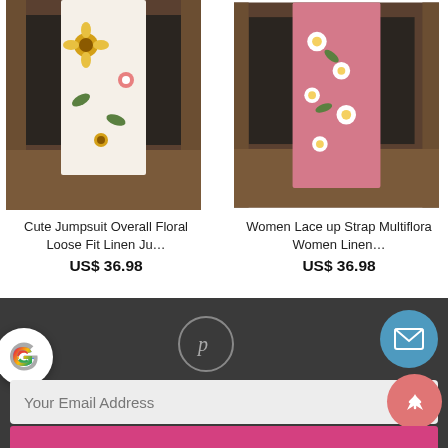[Figure (photo): White floral jumpsuit with sunflowers and pink flowers, hanging against a rustic wooden door]
Cute Jumpsuit Overall Floral Loose Fit Linen Ju…
US$ 36.98
[Figure (photo): Pink floral linen pants with white daisy pattern, hanging against a rustic wooden door]
Women Lace up Strap Multiflora Women Linen…
US$ 36.98
Footer with Google icon, Pinterest icon, Email icon, email address input field, upload button, and pink subscribe bar